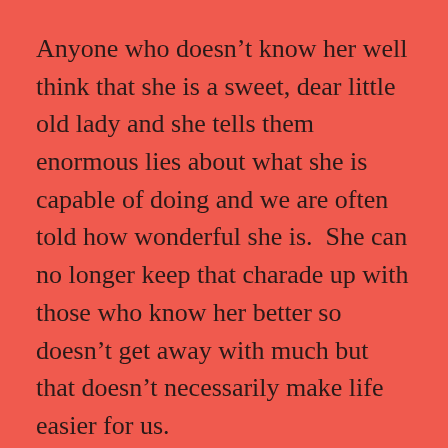Anyone who doesn't know her well think that she is a sweet, dear little old lady and she tells them enormous lies about what she is capable of doing and we are often told how wonderful she is.  She can no longer keep that charade up with those who know her better so doesn't get away with much but that doesn't necessarily make life easier for us.
At the moment I just feel unwell and tired. Is that because of the diabetes problem? I am not doing brilliantly well on the dieting front and find the grey, wet and cold weather hugely depressing. A sunny day makes all the difference but they have been few and far between in the last months or so and rest of...